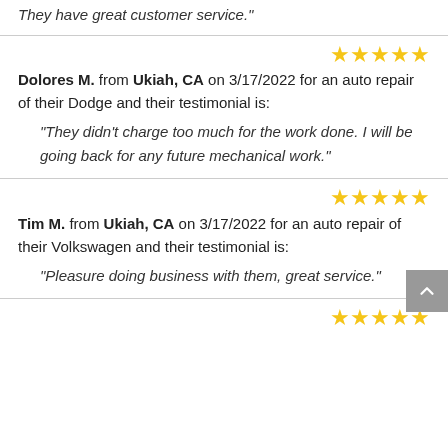They have great customer service."
★★★★★
Dolores M. from Ukiah, CA on 3/17/2022 for an auto repair of their Dodge and their testimonial is:
"They didn't charge too much for the work done. I will be going back for any future mechanical work."
★★★★★
Tim M. from Ukiah, CA on 3/17/2022 for an auto repair of their Volkswagen and their testimonial is:
"Pleasure doing business with them, great service."
★★★★★